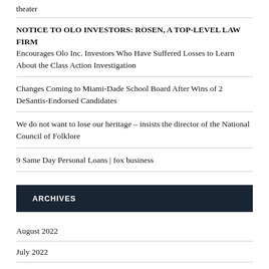theater
NOTICE TO OLO INVESTORS: ROSEN, A TOP-LEVEL LAW FIRM Encourages Olo Inc. Investors Who Have Suffered Losses to Learn About the Class Action Investigation
Changes Coming to Miami-Dade School Board After Wins of 2 DeSantis-Endorsed Candidates
We do not want to lose our heritage – insists the director of the National Council of Folklore
9 Same Day Personal Loans | fox business
ARCHIVES
August 2022
July 2022